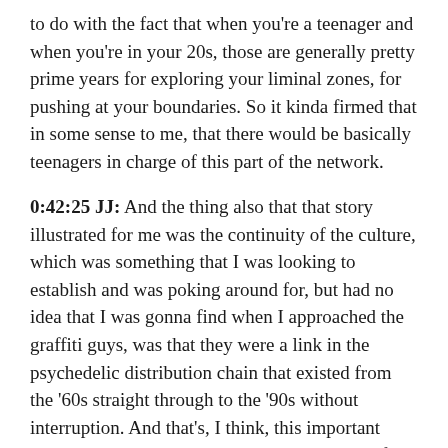to do with the fact that when you're a teenager and when you're in your 20s, those are generally pretty prime years for exploring your liminal zones, for pushing at your boundaries. So it kinda firmed that in some sense to me, that there would be basically teenagers in charge of this part of the network.
0:42:25 JJ: And the thing also that that story illustrated for me was the continuity of the culture, which was something that I was looking to establish and was poking around for, but had no idea that I was gonna find when I approached the graffiti guys, was that they were a link in the psychedelic distribution chain that existed from the '60s straight through to the '90s without interruption. And that's, I think, this important historical point as well, is that you read a lot of these books about psychedelic history and they